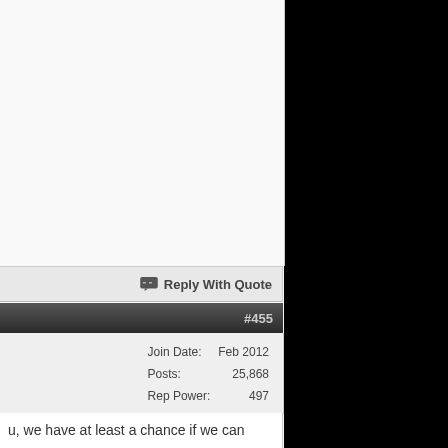Reply With Quote
#455
| Join Date: | Feb 2012 |
| Posts: | 25,868 |
| Rep Power: | 497 |
u, we have at least a chance if we can